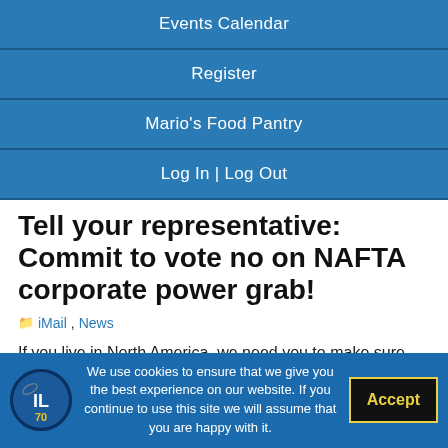Events Calendar
Register
Mario's Food Pantry
Log In | Log Out
Tell your representative: Commit to vote no on NAFTA corporate power grab!
iMail, News
If you live in North America, we need you to make sure your government representative stops a corporate power grab in the new NAFTA renegotiations.
NAFTA gave vast new powers for corporations that make it easier to offshore jobs and attack the
We use cookies to ensure that we give you the best experience on our website. If you continue to use this site we will assume that you are happy with it.